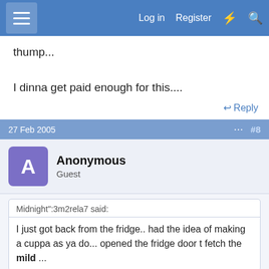Log in  Register
thump...

I dinna get paid enough for this....
Reply
27 Feb 2005  #8
Anonymous
Guest
Midnight":3m2rela7 said:
I just got back from the fridge.. had the idea of making a cuppa as ya do... opened the fridge door t fetch the mild ...
[Figure (screenshot): Advertisement banner for BitLife game showing FAIL text and 'START A NEW LIFE' tagline with Report Ad label]